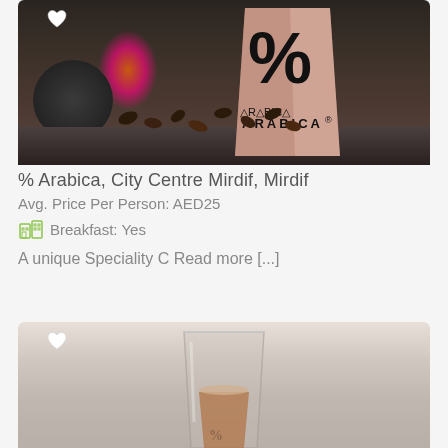[Figure (photo): % Arabica coffee bag with large percent sign, set on dark stone surface with fire in background and scattered coffee beans]
% Arabica, City Centre Mirdif, Mirdif
Avg. Price Per Person: AED25
Breakfast: Yes
A unique Speciality C Read more [...]
[Figure (photo): Coffee drink in a clear glass with light brown liquid, on a light background]